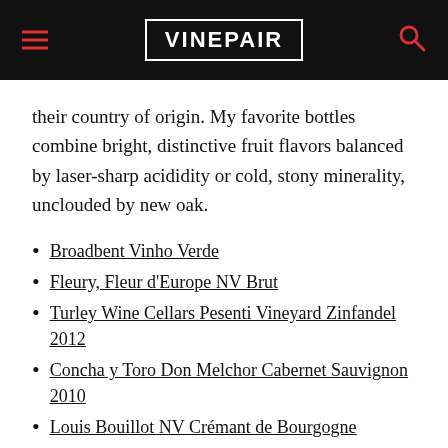VINEPAIR
their country of origin. My favorite bottles combine bright, distinctive fruit flavors balanced by laser-sharp acididity or cold, stony minerality, unclouded by new oak.
Broadbent Vinho Verde
Fleury, Fleur d'Europe NV Brut
Turley Wine Cellars Pesenti Vineyard Zinfandel 2012
Concha y Toro Don Melchor Cabernet Sauvignon 2010
Louis Bouillot NV Crémant de Bourgogne
Robert Sinskey POV 2012
Chateau d'Yquem 1996
De Forville Barbera d'Alba